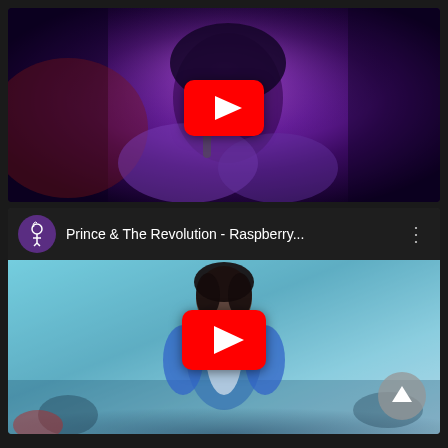[Figure (screenshot): YouTube video thumbnail showing Prince performing in concert with purple lighting, with YouTube play button overlay]
[Figure (screenshot): YouTube video card showing 'Prince & The Revolution - Raspberry...' with channel icon, title bar with three-dot menu, video thumbnail of Prince in blue/white outfit performing, YouTube play button overlay, and up-arrow navigation button]